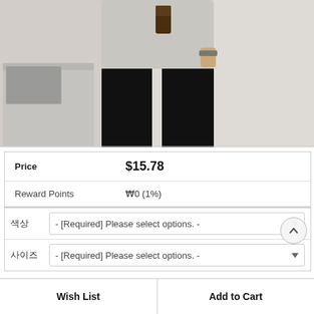[Figure (photo): Product photo showing a person wearing a light gray t-shirt and black wide-leg pants, holding an iced coffee drink. A laptop and metallic table are visible on the left side.]
|  |  |
| --- | --- |
| Price | $15.78 |
| Reward Points | ₩0 (1%) |
|  |  |
| --- | --- |
| 색상 | - [Required] Please select options. - |
| 사이즈 | - [Required] Please select options. - |
Wish List
Add to Cart